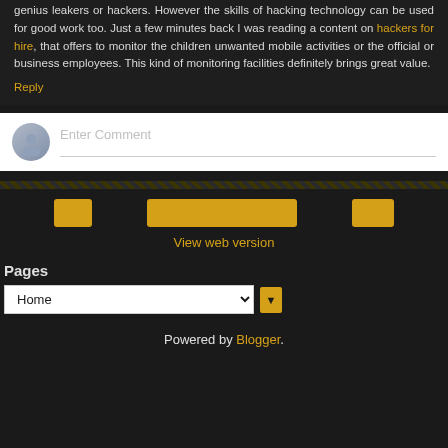genius leakers or hackers. However the skills of hacking technology can be used for good work too. Just a few minutes back I was reading a content on hackers for hire, that offers to monitor the children unwanted mobile activities or the official or business employees. This kind of monitoring facilities definitely brings great value.
Reply
[Figure (other): Comment input box with user avatar and placeholder text 'Enter Comment']
View web version
Pages
Home (dropdown)
Powered by Blogger.